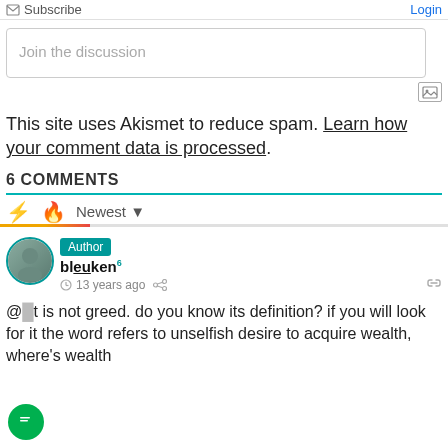Subscribe   Login
Join the discussion
This site uses Akismet to reduce spam. Learn how your comment data is processed.
6 COMMENTS
Newest
Author
bleuken  13 years ago
@...t is not greed. do you know its definition? if you will look for it the word refers to unselfish desire to acquire wealth, where's wealth